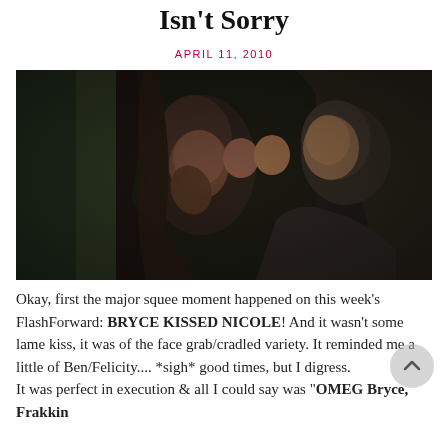Isn't Sorry
APRIL 11, 2010
[Figure (photo): Dark, dramatic close-up photograph of two people kissing, one person cupping the other's face, dimly lit with warm background tones.]
Okay, first the major squee moment happened on this week's FlashForward: BRYCE KISSED NICOLE! And it wasn't some lame kiss, it was of the face grab/cradled variety. It reminded me a little of Ben/Felicity.... *sigh* good times, but I digress. It was perfect in execution & all I could say was "OMEG Bryce, Frakkin